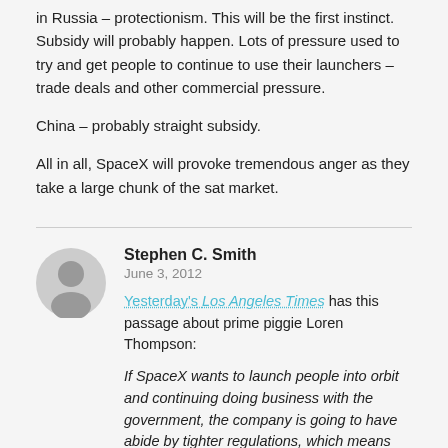in Russia – protectionism. This will be the first instinct. Subsidy will probably happen. Lots of pressure used to try and get people to continue to use their launchers – trade deals and other commercial pressure.
China – probably straight subsidy.
All in all, SpaceX will provoke tremendous anger as they take a large chunk of the sat market.
Stephen C. Smith
June 3, 2012
Yesterday's Los Angeles Times has this passage about prime piggie Loren Thompson:
If SpaceX wants to launch people into orbit and continuing doing business with the government, the company is going to have abide by tighter regulations, which means added cost, said Loren Thompson, SpaceX critic and aerospace policy analyst for the Lexington Institute in Arlington, Va.
"Washington is a graveyard for lean entrepreneurial enterprises," he said.  "The only path to success in Washington is having a ton of lobbyists, a ton of resources and doing business on the government's